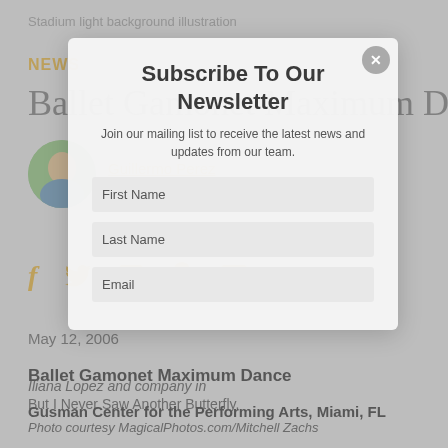Stadium light background illustration
NEWS
Ballet Gamonet Maximum Dance
[Figure (photo): Circular avatar photo of a person, presumably Guillermo Perez]
Guillermo Perez
May 12, 2006
Iliana Lopez and company in
But I Never Saw Another Butterfly.
Photo courtesy MagicalPhotos.com/Mitchell Zachs
Subscribe To Our Newsletter
Join our mailing list to receive the latest news and updates from our team.
First Name
Last Name
Email
Ballet Gamonet Maximum Dance
Gusman Center for the Performing Arts, Miami, FL